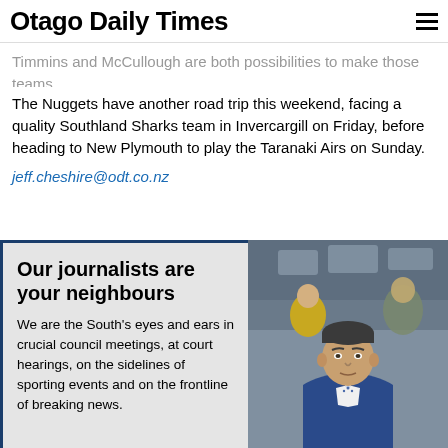Otago Daily Times
Timmins and McCullough are both possibilities to make those teams.
The Nuggets have another road trip this weekend, facing a quality Southland Sharks team in Invercargill on Friday, before heading to New Plymouth to play the Taranaki Airs on Sunday.
jeff.cheshire@odt.co.nz
[Figure (photo): Advertisement panel with text 'Our journalists are your neighbours' alongside a photo of a man in a blue suit at what appears to be a sports event]
Our journalists are your neighbours
We are the South's eyes and ears in crucial council meetings, at court hearings, on the sidelines of sporting events and on the frontline of breaking news.